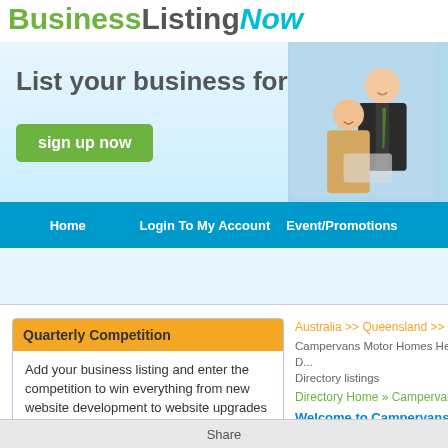BusinessListingNow
[Figure (screenshot): Banner with tagline 'List your business for free!' and 'sign up now' button, with photo of two business people]
Home | Login To My Account | Event/Promotions
Quarterly Competition
Add your business listing and enter the competition to win everything from new website development to website upgrades
Read More...   Hide this add
Australia >> Queensland >> Gold Coas...
Campervans Motor Homes Helensvale D... Directory listings
Directory Home » Campervans & Mo...
Welcome to Campervans & Motor ...
Business listing now is one stop sho... business on our site is that you will h...
Share